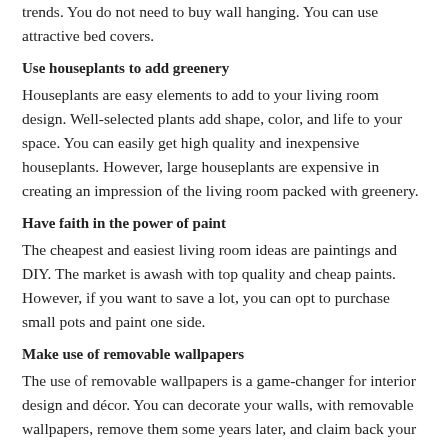trends. You do not need to buy wall hanging. You can use attractive bed covers.
Use houseplants to add greenery
Houseplants are easy elements to add to your living room design. Well-selected plants add shape, color, and life to your space. You can easily get high quality and inexpensive houseplants. However, large houseplants are expensive in creating an impression of the living room packed with greenery.
Have faith in the power of paint
The cheapest and easiest living room ideas are paintings and DIY. The market is awash with top quality and cheap paints. However, if you want to save a lot, you can opt to purchase small pots and paint one side.
Make use of removable wallpapers
The use of removable wallpapers is a game-changer for interior design and décor. You can decorate your walls, with removable wallpapers, remove them some years later, and claim back your deposits as you return them.